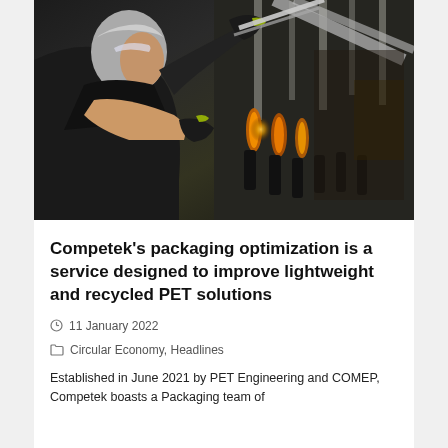[Figure (photo): A man wearing safety glasses and black gloves working with industrial manufacturing equipment, handling what appears to be PET bottle blowing machinery with glowing heated preforms visible]
Competek's packaging optimization is a service designed to improve lightweight and recycled PET solutions
11 January 2022
Circular Economy, Headlines
Established in June 2021 by PET Engineering and COMEP, Competek boasts a Packaging team of